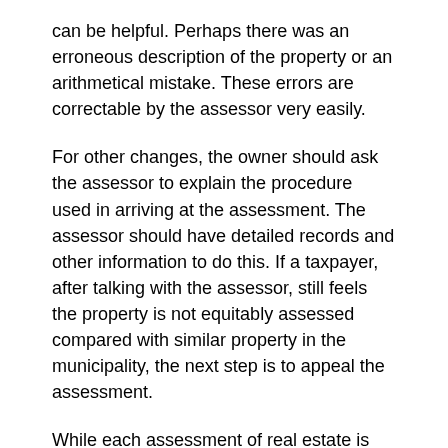can be helpful. Perhaps there was an erroneous description of the property or an arithmetical mistake. These errors are correctable by the assessor very easily.
For other changes, the owner should ask the assessor to explain the procedure used in arriving at the assessment. The assessor should have detailed records and other information to do this. If a taxpayer, after talking with the assessor, still feels the property is not equitably assessed compared with similar property in the municipality, the next step is to appeal the assessment.
While each assessment of real estate is divided between the value of land and the value of improvements, only the total value can be appealed. In making the decision to appeal, the owner should be aware of the following: